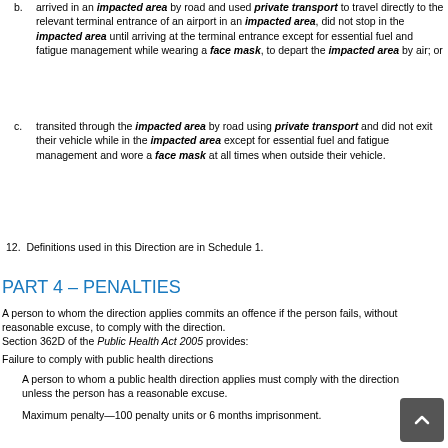b. arrived in an impacted area by road and used private transport to travel directly to the relevant terminal entrance of an airport in an impacted area, did not stop in the impacted area until arriving at the terminal entrance except for essential fuel and fatigue management while wearing a face mask, to depart the impacted area by air; or
c. transited through the impacted area by road using private transport and did not exit their vehicle while in the impacted area except for essential fuel and fatigue management and wore a face mask at all times when outside their vehicle.
12. Definitions used in this Direction are in Schedule 1.
PART 4 – PENALTIES
A person to whom the direction applies commits an offence if the person fails, without reasonable excuse, to comply with the direction.
Section 362D of the Public Health Act 2005 provides:
Failure to comply with public health directions
A person to whom a public health direction applies must comply with the direction unless the person has a reasonable excuse.
Maximum penalty—100 penalty units or 6 months imprisonment.